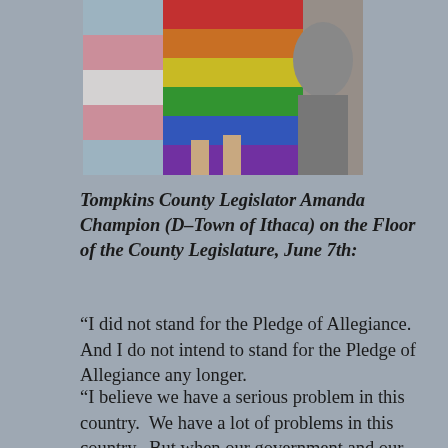[Figure (photo): Photo of Tompkins County Legislator Amanda Champion holding rainbow and transgender pride flags on the floor of the County Legislature.]
Tompkins County Legislator Amanda Champion (D-Town of Ithaca) on the Floor of the County Legislature, June 7th:
“I did not stand for the Pledge of Allegiance. And I do not intend to stand for the Pledge of Allegiance any longer.
“I believe we have a serious problem in this country. We have a lot of problems in this country. But when our government and our society values the right to a weapon of mass destruction in any person’s hands, without